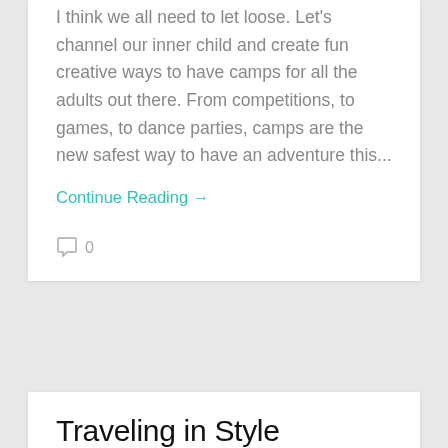I think we all need to let loose. Let's channel our inner child and create fun creative ways to have camps for all the adults out there. From competitions, to games, to dance parties, camps are the new safest way to have an adventure this...
Continue Reading →
0
Traveling in Style
[Figure (photo): Black and white photo of three women near an airplane, appearing to be from the 1950s or 1960s. The women are smiling and dressed elegantly.]